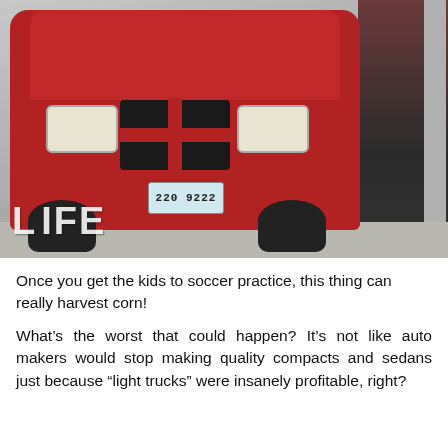[Figure (photo): Front view of a red Dodge Caravan minivan at a gas station being fueled. License plate reads '220 9222'. A person in dark clothing is visible on the right side fueling the vehicle. A 'LIFE' watermark logo appears in the lower left of the photo.]
Once you get the kids to soccer practice, this thing can really harvest corn!
What's the worst that could happen? It's not like auto makers would stop making quality compacts and sedans just because “light trucks” were insanely profitable, right?